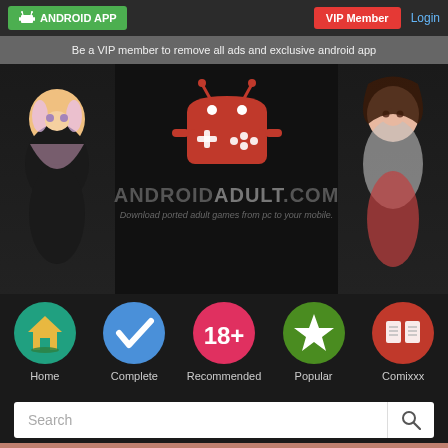ANDROID APP | VIP Member | Login
Be a VIP member to remove all ads and exclusive android app
[Figure (logo): AndroidAdult.com logo with red android robot holding game controller, flanked by two anime characters. Text: ANDROIDADULT.COM - Download ported adult games from pc to your mobile.]
Home
Complete
Recommended
Popular
Comixxx
Search
[Figure (photo): Partial adult content image visible at bottom of page]